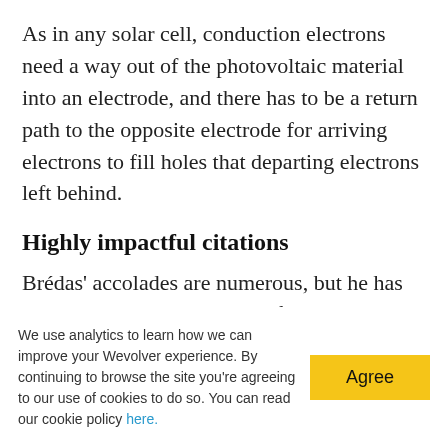As in any solar cell, conduction electrons need a way out of the photovoltaic material into an electrode, and there has to be a return path to the opposite electrode for arriving electrons to fill holes that departing electrons left behind.
Highly impactful citations
Brédas' accolades are numerous, but he has particularly gained attention for his Google Scholar h-index score, a calculation of the
We use analytics to learn how we can improve your Wevolver experience. By continuing to browse the site you're agreeing to our use of cookies to do so. You can read our cookie policy here.